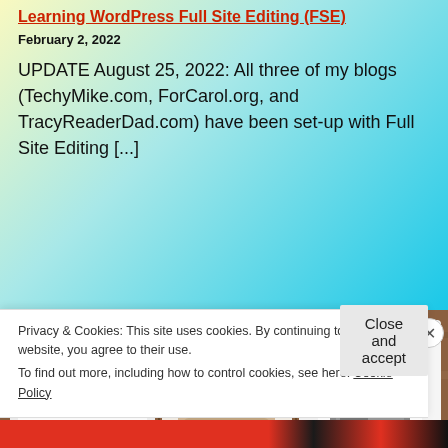Learning WordPress Full Site Editing (FSE)
February 2, 2022
UPDATE August 25, 2022: All three of my blogs (TechyMike.com, ForCarol.org, and TracyReaderDad.com) have been set-up with Full Site Editing [...]
[Figure (photo): Three Google Pixel 6 Pro product boxes and devices displayed on a wooden surface: a charger box on the left, a Pixel 6 Pro phone in the middle, and a Pixel 6 Pro case on the right.]
Privacy & Cookies: This site uses cookies. By continuing to use this website, you agree to their use.
To find out more, including how to control cookies, see here: Cookie Policy